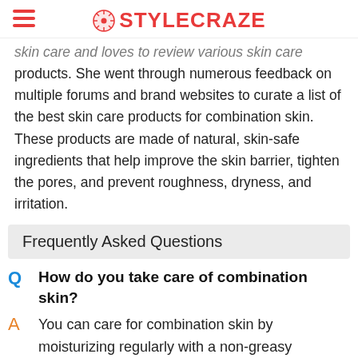STYLECRAZE
skin care and loves to review various skin care products. She went through numerous feedback on multiple forums and brand websites to curate a list of the best skin care products for combination skin. These products are made of natural, skin-safe ingredients that help improve the skin barrier, tighten the pores, and prevent roughness, dryness, and irritation.
Frequently Asked Questions
Q How do you take care of combination skin?
A You can care for combination skin by moisturizing regularly with a non-greasy